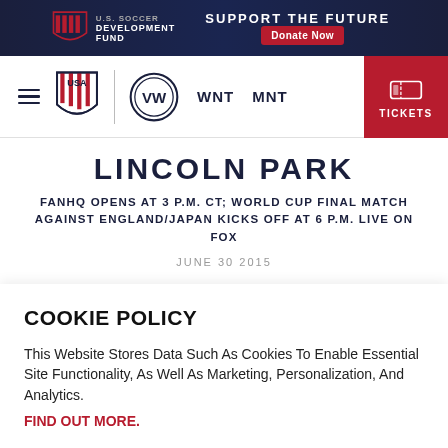[Figure (screenshot): US Soccer Development Fund banner ad with 'Support the Future' text and 'Donate Now' red button on dark navy/stars background]
[Figure (logo): US Soccer and Volkswagen logos with navigation bar showing WNT, MNT links and red Tickets button]
LINCOLN PARK
FANHQ OPENS AT 3 P.M. CT; WORLD CUP FINAL MATCH AGAINST ENGLAND/JAPAN KICKS OFF AT 6 P.M. LIVE ON FOX
JUNE 30 2015
COOKIE POLICY
This Website Stores Data Such As Cookies To Enable Essential Site Functionality, As Well As Marketing, Personalization, And Analytics. FIND OUT MORE.
ACCEPT
DENY